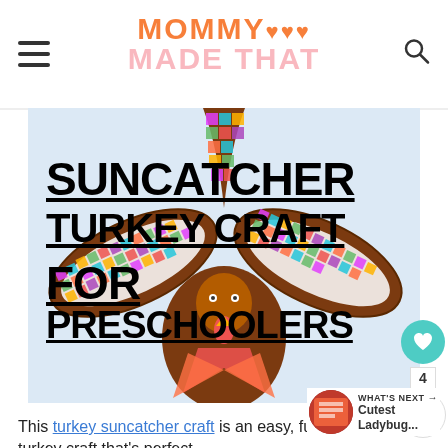MOMMY MADE THAT
[Figure (photo): Colorful tissue paper suncatcher turkey craft with brown feather outlines filled with multicolored tissue paper squares, showing a turkey body in the center.]
SUNCATCHER TURKEY CRAFT FOR PRESCHOOLERS
This turkey suncatcher craft is an easy, fun and colorful turkey craft that's perfect for kids.